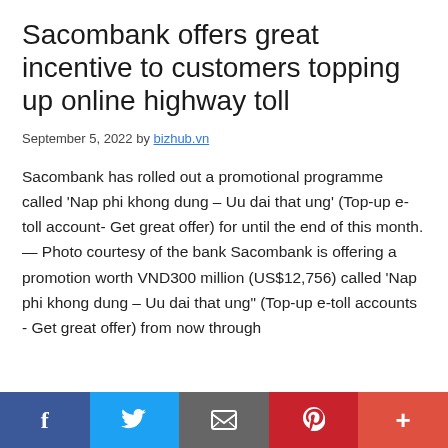Sacombank offers great incentive to customers topping up online highway toll
September 5, 2022 by bizhub.vn
Sacombank has rolled out a promotional programme called ‘Nap phi khong dung – Uu dai that ung’ (Top-up e-toll account- Get great offer) for until the end of this month. — Photo courtesy of the bank Sacombank is offering a promotion worth VND300 million (US$12,756) called ‘Nap phi khong dung – Uu dai that ung” (Top-up e-toll accounts - Get great offer) from now through
[Figure (other): Social media sharing bar with Facebook, Twitter, Email, Pinterest, and More buttons]